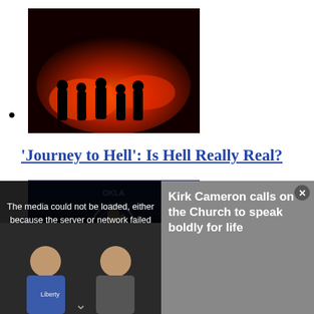[Image: fire/dramatic scene silhouettes]
‘Journey to Hell’: Is Hell Really Real?
[Image: graduation ceremony speaker at podium]
The graduating class of 2023 is in for a big surprise this year. Are they ready for it?
[Figure (photo): Partial view of a third article image, obscured by video overlay]
[Figure (screenshot): Video overlay: error message 'The media could not be loaded, either because the server or network failed or because the format is not supported.' Left side shows thumbnail of two people. Right side (gray) reads 'Kirk Cameron calls on the Church to speak boldly for life']